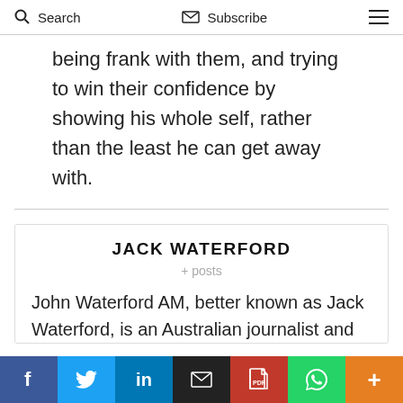Search  Subscribe  ☰
being frank with them, and trying to win their confidence by showing his whole self, rather than the least he can get away with.
JACK WATERFORD
+ posts
John Waterford AM, better known as Jack Waterford, is an Australian journalist and